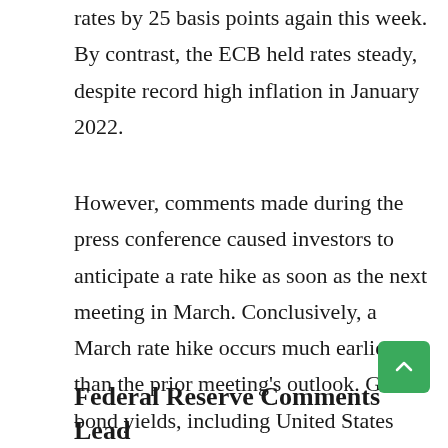rates by 25 basis points again this week. By contrast, the ECB held rates steady, despite record high inflation in January 2022.
However, comments made during the press conference caused investors to anticipate a rate hike as soon as the next meeting in March. Conclusively, a March rate hike occurs much earlier than the prior meeting's outlook. Global bond yields, including United States mortgage rates, moved higher on due to the prospect of tighter monetary policy in Europe.
Federal Reserve Comments Lead